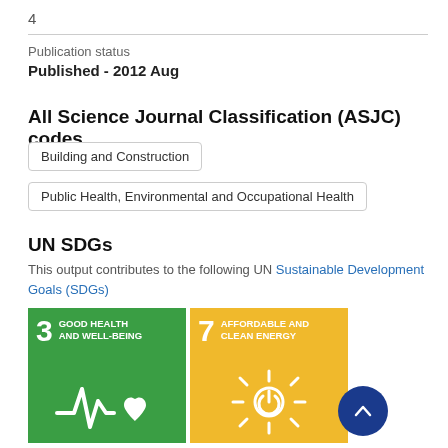4
Publication status
Published - 2012 Aug
All Science Journal Classification (ASJC) codes
Building and Construction
Public Health, Environmental and Occupational Health
UN SDGs
This output contributes to the following UN Sustainable Development Goals (SDGs)
[Figure (infographic): SDG 3: Good Health and Well-Being badge (green background with heartbeat and heart icon) and SDG 7: Affordable and Clean Energy badge (yellow background with power/sun icon)]